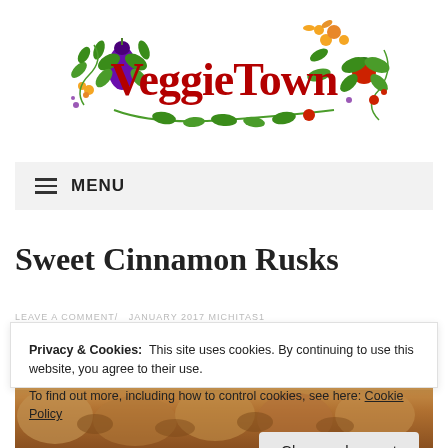[Figure (logo): VeggieTown logo with colorful illustrated vegetables, vines, leaves, eggplant, tomatoes, and flowers surrounding the red text 'VeggieTown']
MENU
Sweet Cinnamon Rusks
LEAVE A COMMENT/ JANUARY 2017 MICHITAS1
Privacy & Cookies:  This site uses cookies. By continuing to use this website, you agree to their use.
To find out more, including how to control cookies, see here: Cookie Policy
Close and accept
[Figure (photo): Close-up photo of sweet cinnamon rusks, showing their golden-brown baked texture]